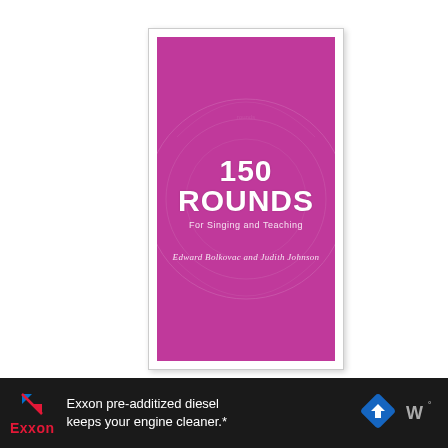[Figure (illustration): Book cover for '150 Rounds For Singing and Teaching' by Edward Bolkovac and Judith Johnson. Magenta/pink background with faint circular watermark design. Large white bold title text '150 ROUNDS', subtitle 'For Singing and Teaching', and authors 'Edward Bolkovac and Judith Johnson' in white italic text.]
[Figure (other): Exxon advertisement banner on dark background. Shows Exxon logo with blue and red arrows, text 'Exxon pre-additized diesel keeps your engine cleaner.*', a blue road sign icon, and a 'W' icon on the right.]